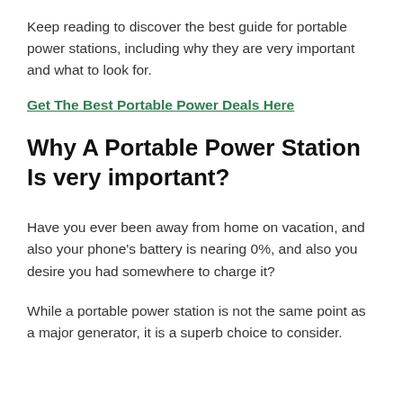Keep reading to discover the best guide for portable power stations, including why they are very important and what to look for.
Get The Best Portable Power Deals Here
Why A Portable Power Station Is very important?
Have you ever been away from home on vacation, and also your phone's battery is nearing 0%, and also you desire you had somewhere to charge it?
While a portable power station is not the same point as a major generator, it is a superb choice to consider.